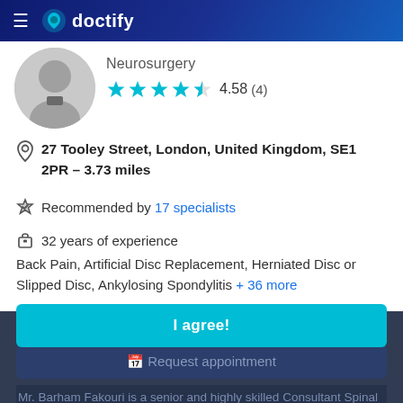doctify
Neurosurgery
4.58 (4)
27 Tooley Street, London, United Kingdom, SE1 2PR – 3.73 miles
Recommended by 17 specialists
32 years of experience
Back Pain, Artificial Disc Replacement, Herniated Disc or Slipped Disc, Ankylosing Spondylitis + 36 more
This website uses cookies to enhance your browsing experience. Learn more
Request appointment
I agree!
Mr. Barham Fakouri is a senior and highly skilled Consultant Spinal Neurosurgeon at
Read more